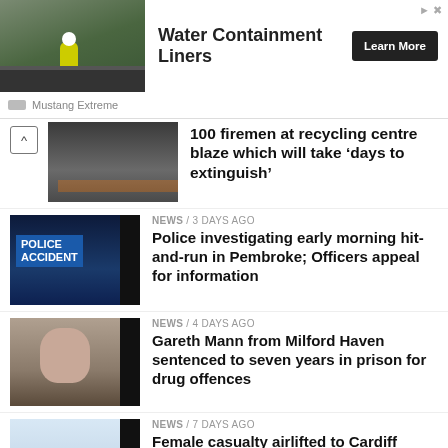[Figure (screenshot): Advertisement banner: worker on rooftop with Water Containment Liners ad, Mustang Extreme brand]
100 firemen at recycling centre blaze which will take ‘days to extinguish’
NEWS / 3 days ago
Police investigating early morning hit-and-run in Pembroke; Officers appeal for information
NEWS / 4 days ago
Gareth Mann from Milford Haven sentenced to seven years in prison for drug offences
NEWS / 7 days ago
Female casualty airlifted to Cardiff following serious road traffic collision near Neyland